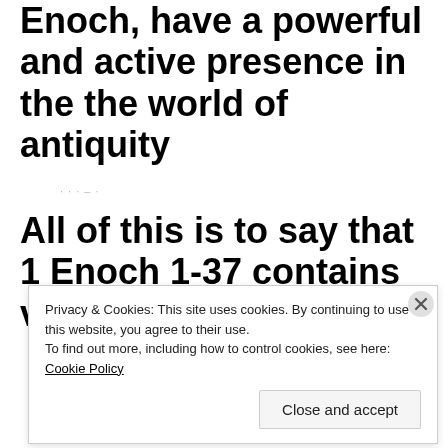Enoch, have a powerful and active presence in the the world of antiquity
· · · – ·
All of this is to say that 1 Enoch 1-37 contains valuable information
Privacy & Cookies: This site uses cookies. By continuing to use this website, you agree to their use.
To find out more, including how to control cookies, see here: Cookie Policy
Close and accept